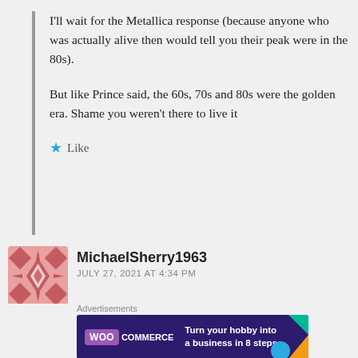I'll wait for the Metallica response (because anyone who was actually alive then would tell you their peak were in the 80s).
But like Prince said, the 60s, 70s and 80s were the golden era. Shame you weren't there to live it
Like
MichaelSherry1963
JULY 27, 2021 AT 4:34 PM
Did you just include Metallica when discussing the 90s?
Advertisements
[Figure (screenshot): WooCommerce advertisement banner: dark purple background with WooCommerce logo on left and text 'Turn your hobby into a business in 8 steps' with colorful geometric shapes on right]